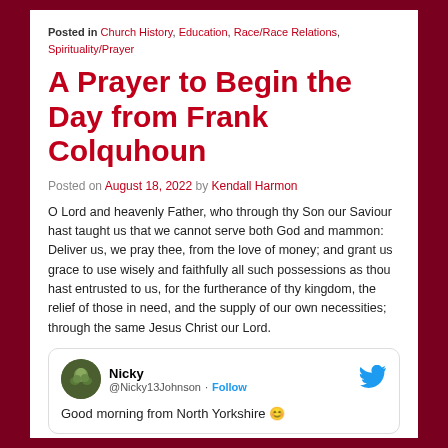Posted in Church History, Education, Race/Race Relations, Spirituality/Prayer
A Prayer to Begin the Day from Frank Colquhoun
Posted on August 18, 2022 by Kendall Harmon
O Lord and heavenly Father, who through thy Son our Saviour hast taught us that we cannot serve both God and mammon: Deliver us, we pray thee, from the love of money; and grant us grace to use wisely and faithfully all such possessions as thou hast entrusted to us, for the furtherance of thy kingdom, the relief of those in need, and the supply of our own necessities; through the same Jesus Christ our Lord.
[Figure (screenshot): Embedded tweet from @Nicky13Johnson saying 'Good morning from North Yorkshire 😊' with a Follow button and Twitter bird icon.]